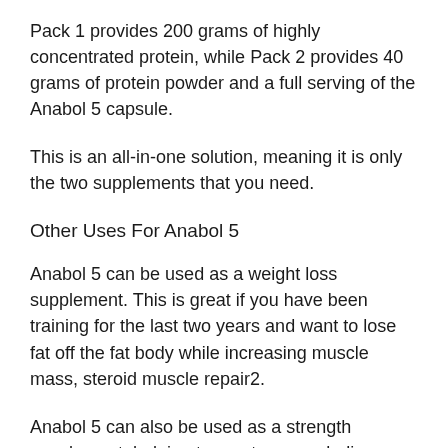Pack 1 provides 200 grams of highly concentrated protein, while Pack 2 provides 40 grams of protein powder and a full serving of the Anabol 5 capsule.
This is an all-in-one solution, meaning it is only the two supplements that you need.
Other Uses For Anabol 5
Anabol 5 can be used as a weight loss supplement. This is great if you have been training for the last two years and want to lose fat off the fat body while increasing muscle mass, steroid muscle repair2.
Anabol 5 can also be used as a strength supplement, helping to create an anabolic environment within your body. When combined with other protein sources, it